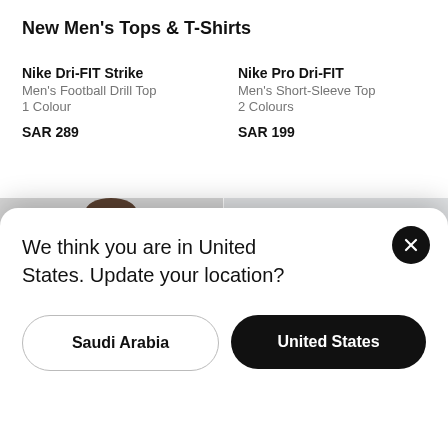New Men's Tops & T-Shirts
Nike Dri-FIT Strike
Men's Football Drill Top
1 Colour
SAR 289
Nike Pro Dri-FIT
Men's Short-Sleeve Top
2 Colours
SAR 199
[Figure (photo): Man wearing black Nike Dri-FIT short-sleeve top]
[Figure (photo): FC Barcelona Nike Pro Dri-FIT short-sleeve top in grey/white with red and blue stripe and Spotify logo]
Just In
Nike D
Men's Seamless Training Top
We think you are in United States. Update your location?
Saudi Arabia
United States